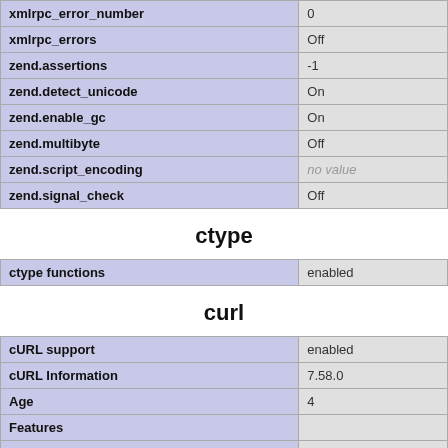|  |  |
| --- | --- |
| xmlrpc_error_number | 0 |
| xmlrpc_errors | Off |
| zend.assertions | -1 |
| zend.detect_unicode | On |
| zend.enable_gc | On |
| zend.multibyte | Off |
| zend.script_encoding | no value |
| zend.signal_check | Off |
ctype
|  |  |
| --- | --- |
| ctype functions | enabled |
curl
|  |  |
| --- | --- |
| cURL support | enabled |
| cURL Information | 7.58.0 |
| Age | 4 |
| Features |  |
| AsynchDNS | Yes |
| CharConv | No |